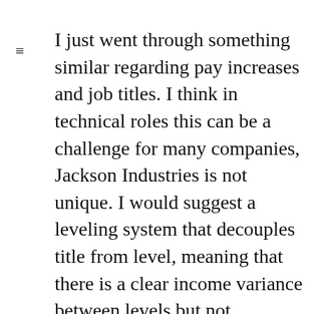I just went through something similar regarding pay increases and job titles. I think in technical roles this can be a challenge for many companies, Jackson Industries is not unique. I would suggest a leveling system that decouples title from level, meaning that there is a clear income variance between levels but not explicitly tied to a title. Using a composite from an employee review and employee level should determine the pay increase. Increases should be objective and